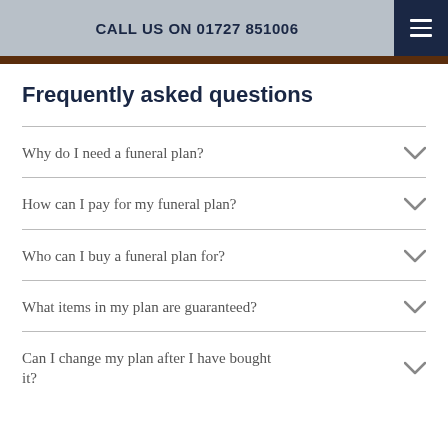CALL US ON 01727 851006
Frequently asked questions
Why do I need a funeral plan?
How can I pay for my funeral plan?
Who can I buy a funeral plan for?
What items in my plan are guaranteed?
Can I change my plan after I have bought it?